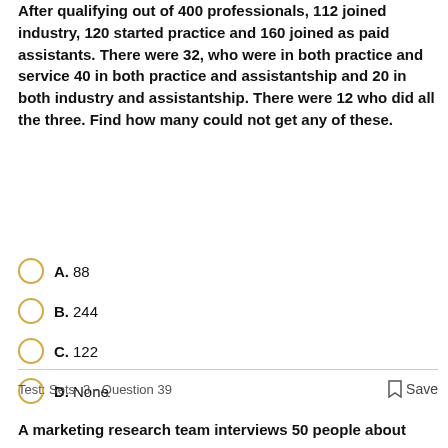After qualifying out of 400 professionals, 112 joined industry, 120 started practice and 160 joined as paid assistants. There were 32, who were in both practice and service 40 in both practice and assistantship and 20 in both industry and assistantship. There were 12 who did all the three. Find how many could not get any of these.
A. 88
B. 244
C. 122
D. None
Test: Sets- 3 - Question 39   Save
A marketing research team interviews 50 people about